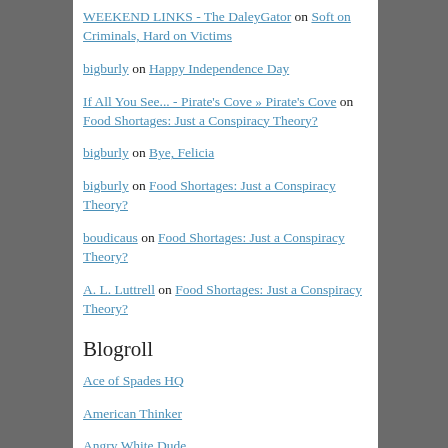WEEKEND LINKS - The DaleyGator on Soft on Criminals, Hard on Victims
bigburly on Happy Independence Day
If All You See... - Pirate's Cove » Pirate's Cove on Food Shortages: Just a Conspiracy Theory?
bigburly on Bye, Felicia
bigburly on Food Shortages: Just a Conspiracy Theory?
boudicaus on Food Shortages: Just a Conspiracy Theory?
A. L. Luttrell on Food Shortages: Just a Conspiracy Theory?
Blogroll
Ace of Spades HQ
American Thinker
Angry White Dude